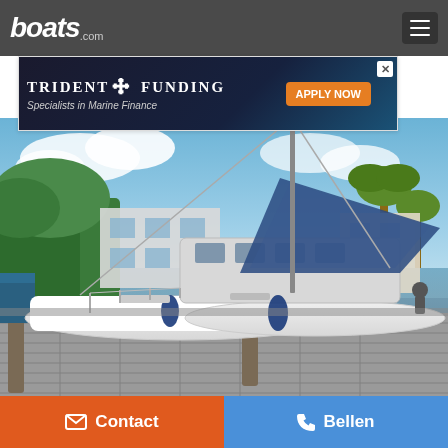boats.com
[Figure (screenshot): Trident Funding advertisement banner - Specialists in Marine Finance with APPLY NOW button]
[Figure (photo): A white Lagoon 440 catamaran sailboat docked at a marina with a grey wood dock, blue sails, waterfront homes and palm trees in background]
Lagoon 440 2008
Contact
Bellen